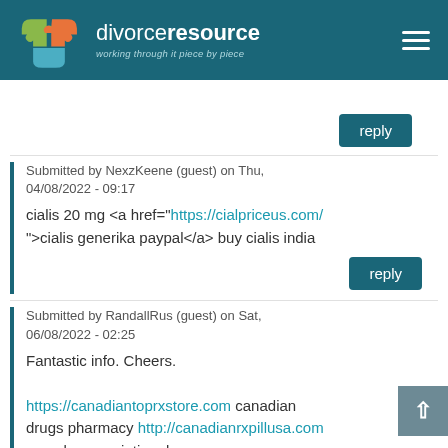[Figure (logo): Divorce Resource logo with puzzle pieces and tagline 'working through it piece by piece']
reply
Submitted by NexzKeene (guest) on Thu, 04/08/2022 - 09:17
cialis 20 mg <a href="https://cialpriceus.com/">cialis generika paypal</a> buy cialis india
reply
Submitted by RandallRus (guest) on Sat, 06/08/2022 - 02:25
Fantastic info. Cheers.
https://canadiantoprxstore.com canadian drugs pharmacy http://canadianrxpillusa.com canada prescription drugs.